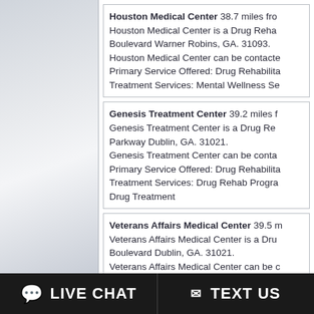Houston Medical Center 38.7 miles from Houston Medical Center is a Drug Rehabilitation located at Boulevard Warner Robins, GA. 31093. Houston Medical Center can be contacted. Primary Service Offered: Drug Rehabilitation. Treatment Services: Mental Wellness Se...
Genesis Treatment Center 39.2 miles from Genesis Treatment Center is a Drug Rehabilitation located at Parkway Dublin, GA. 31021. Genesis Treatment Center can be contacted. Primary Service Offered: Drug Rehabilitation. Treatment Services: Drug Rehab Programs, Drug Treatment
Veterans Affairs Medical Center 39.5 miles from Veterans Affairs Medical Center is a Drug Rehabilitation located at Boulevard Dublin, GA. 31021. Veterans Affairs Medical Center can be contacted. Primary Service Offered: Drug Rehab C... Treatment Services: Drug Rehab Programs, Drug Treatment, Residential Short-Term Treatment, Residential Short-Term Treatment for Drug Abuse, Inpatient Hospital, Patients, Lesbian and Gay Drug Rehabs, Pregnant mothers, Females, Males, Court Appointed, Impaired
LIVE CHAT
TEXT US